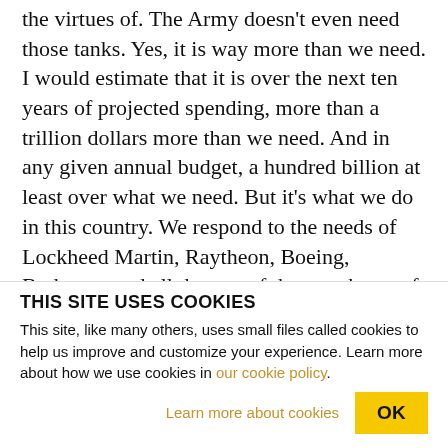the virtues of. The Army doesn't even need those tanks. Yes, it is way more than we need. I would estimate that it is over the next ten years of projected spending, more than a trillion dollars more than we need. And in any given annual budget, a hundred billion at least over what we need. But it's what we do in this country. We respond to the needs of Lockheed Martin, Raytheon, Boeing, Brahman, and all the rest of the merchants of death, the defense contractors. We respond to the needs of the chairman of the Armed Services Committees who need that money in their PACs to be elected constantly. We
THIS SITE USES COOKIES
This site, like many others, uses small files called cookies to help us improve and customize your experience. Learn more about how we use cookies in our cookie policy.
Learn more about cookies